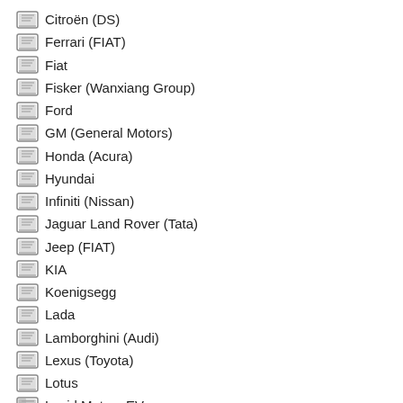Citroën (DS)
Ferrari (FIAT)
Fiat
Fisker (Wanxiang Group)
Ford
GM (General Motors)
Honda (Acura)
Hyundai
Infiniti (Nissan)
Jaguar Land Rover (Tata)
Jeep (FIAT)
KIA
Koenigsegg
Lada
Lamborghini (Audi)
Lexus (Toyota)
Lotus
Lucid Motors EV